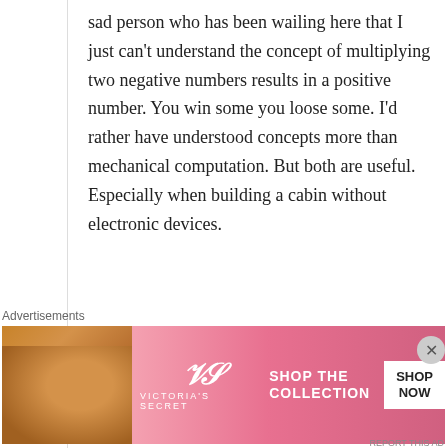sad person who has been wailing here that I just can't understand the concept of multiplying two negative numbers results in a positive number. You win some you loose some. I'd rather have understood concepts more than mechanical computation. But both are useful. Especially when building a cabin without electronic devices.
Loading...
Reply
Advertisements
[Figure (photo): Victoria's Secret advertisement banner with a woman's face on the left, VS logo in the center, and 'SHOP THE COLLECTION' text with a 'SHOP NOW' button on the right, pink/red gradient background.]